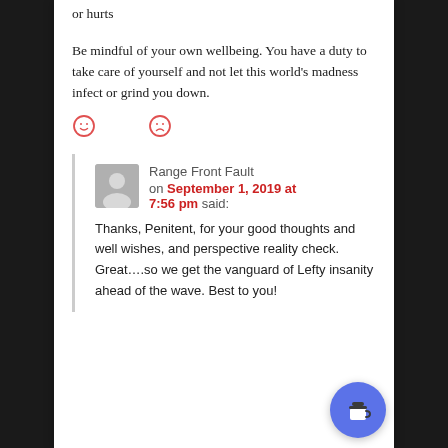or hurts
Be mindful of your own wellbeing. You have a duty to take care of yourself and not let this world's madness infect or grind you down.
[Figure (other): Two emoji reaction icons: a smiley face and a sad face, both in red outline style]
Range Front Fault on September 1, 2019 at 7:56 pm said:
Thanks, Penitent, for your good thoughts and well wishes, and perspective reality check. Great….so we get the vanguard of Lefty insanity ahead of the wave. Best to you!